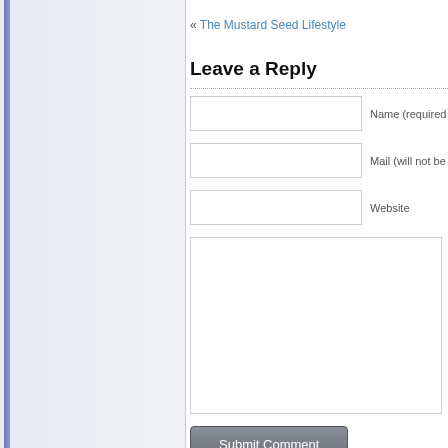« The Mustard Seed Lifestyle
Leave a Reply
Name (required)
Mail (will not be)
Website
Submit Comment